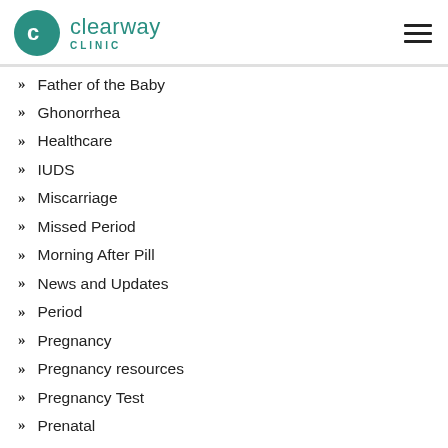Clearway Clinic
Father of the Baby
Ghonorrhea
Healthcare
IUDS
Miscarriage
Missed Period
Morning After Pill
News and Updates
Period
Pregnancy
Pregnancy resources
Pregnancy Test
Prenatal
Quick Facts
Signs & Symptoms